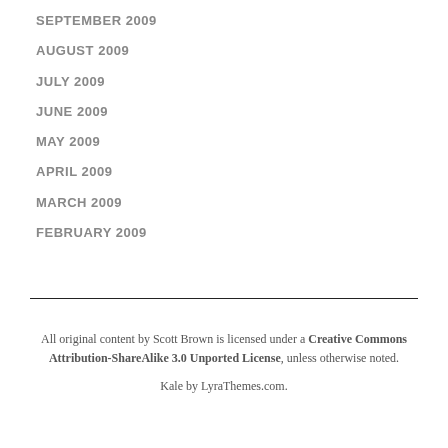SEPTEMBER 2009
AUGUST 2009
JULY 2009
JUNE 2009
MAY 2009
APRIL 2009
MARCH 2009
FEBRUARY 2009
All original content by Scott Brown is licensed under a Creative Commons Attribution-ShareAlike 3.0 Unported License, unless otherwise noted.
Kale by LyraThemes.com.